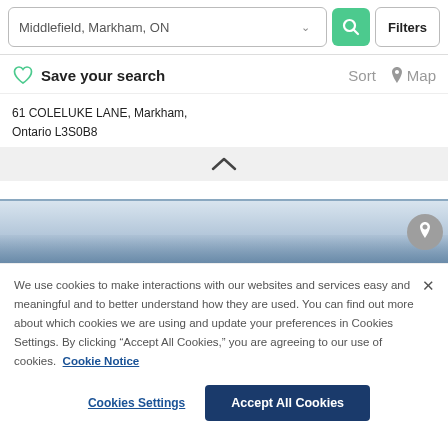[Figure (screenshot): Search bar with 'Middlefield, Markham, ON' input, a green search button with magnifying glass icon, and a 'Filters' button]
Save your search   Sort   Map
61 COLELUKE LANE, Markham, Ontario L3S0B8
[Figure (screenshot): Collapse chevron up arrow on grey background bar]
[Figure (map): Partial map view with a location pin button on the right side]
We use cookies to make interactions with our websites and services easy and meaningful and to better understand how they are used. You can find out more about which cookies we are using and update your preferences in Cookies Settings. By clicking "Accept All Cookies," you are agreeing to our use of cookies.  Cookie Notice
Cookies Settings   Accept All Cookies